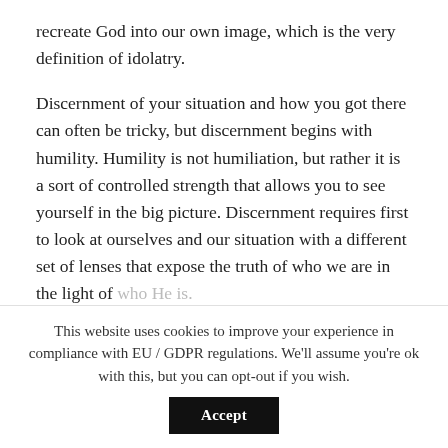recreate God into our own image, which is the very definition of idolatry.
Discernment of your situation and how you got there can often be tricky, but discernment begins with humility. Humility is not humiliation, but rather it is a sort of controlled strength that allows you to see yourself in the big picture. Discernment requires first to look at ourselves and our situation with a different set of lenses that expose the truth of who we are in the light of who He is.
This website uses cookies to improve your experience in compliance with EU / GDPR regulations. We'll assume you're ok with this, but you can opt-out if you wish.